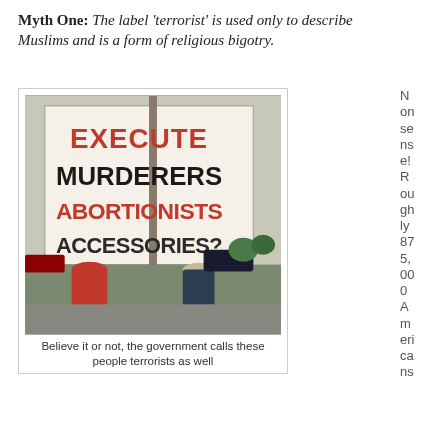Myth One: The label 'terrorist' is used only to describe Muslims and is a form of religious bigotry.
[Figure (photo): Protest sign reading 'EXECUTE MURDERERS ABORTIONISTS ACCESSORIES?' held on a pole, with people standing in front of it outdoors.]
Believe it or not, the government calls these people terrorists as well
Nonsense! Roughly 875,000 Americans